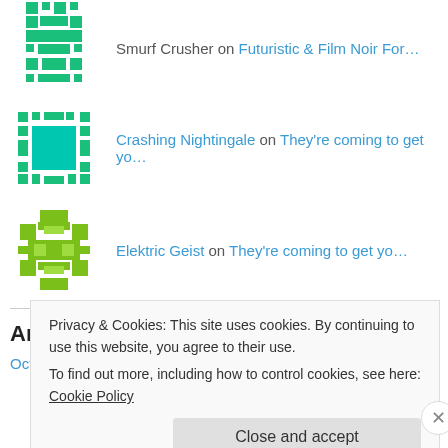Smurf Crusher on Futuristic & Film Noir For…
Crashing Nightingale on They're coming to get yo…
Elektric Geist on They're coming to get yo…
Archives
October 2016
Privacy & Cookies: This site uses cookies. By continuing to use this website, you agree to their use.
To find out more, including how to control cookies, see here: Cookie Policy
Close and accept